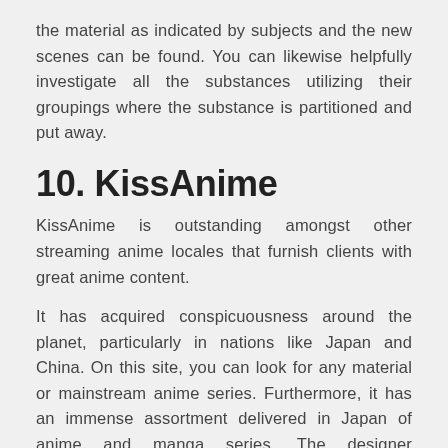the material as indicated by subjects and the new scenes can be found. You can likewise helpfully investigate all the substances utilizing their groupings where the substance is partitioned and put away.
10. KissAnime
KissAnime is outstanding amongst other streaming anime locales that furnish clients with great anime content.
It has acquired conspicuousness around the planet, particularly in nations like Japan and China. On this site, you can look for any material or mainstream anime series. Furthermore, it has an immense assortment delivered in Japan of anime and manga series. The designer intermittently refreshes this site with new and more up-to-date materials. In this way, you can check here for every one of the latest